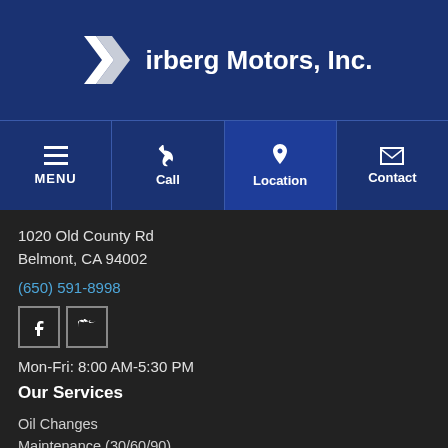[Figure (logo): Kirberg Motors, Inc. logo with double-K chevron mark in white on dark blue background]
[Figure (infographic): Navigation bar with four buttons: MENU (hamburger icon), Call (phone icon), Location (pin icon), Contact (envelope icon) on dark blue background]
1020 Old County Rd
Belmont, CA 94002
(650) 591-8998
[Figure (infographic): Social media icons: Facebook (f) and Twitter (bird) in outlined square buttons]
Mon-Fri: 8:00 AM-5:30 PM
Our Services
Oil Changes
Maintenance (30/60/90)
Transmission Service